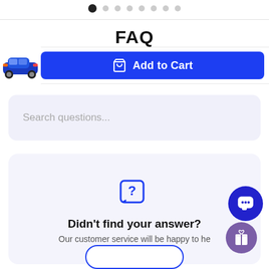[Figure (infographic): Carousel dots navigation row at top, one dark dot and several gray dots]
FAQ
[Figure (photo): Small product image of a blue toy racing car, thumbnail in sticky add-to-cart bar]
Add to Cart
Search questions...
[Figure (illustration): Blue question mark icon in a speech bubble box]
Didn't find your answer?
Our customer service will be happy to he
[Figure (illustration): Dark blue chat bubble icon button, bottom right corner]
[Figure (illustration): Purple gift icon button, bottom right corner]